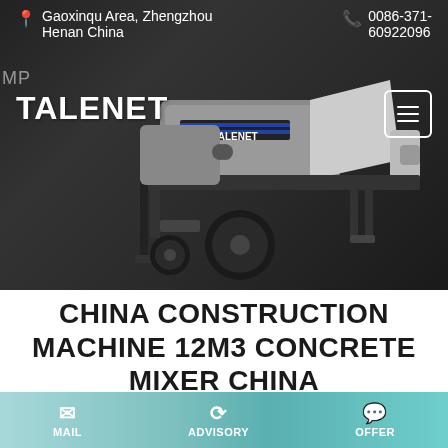Gaoxinqu Area, Zhengzhou Henan China | 0086-371-60922096
[Figure (photo): Gray concrete mixer pump machine on wheels with TALENET branding, shown on dark background]
TALENET
CHINA CONSTRUCTION MACHINE 12M3 CONCRETE MIXER CHINA
MAIL | ADVISORY | OFFER